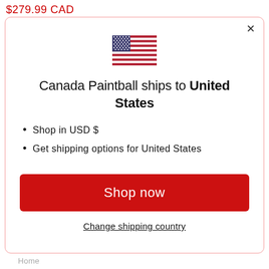$279.99 CAD
[Figure (illustration): US flag emoji/icon centered in modal]
Canada Paintball ships to United States
Shop in USD $
Get shipping options for United States
Shop now
Change shipping country
Home